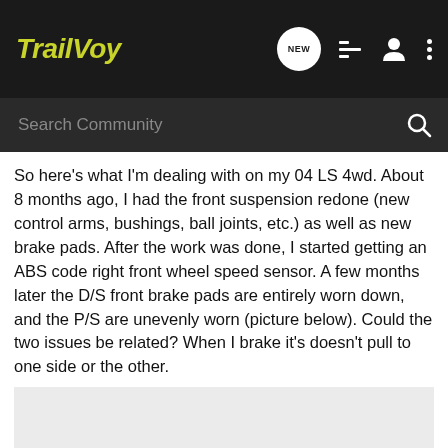TrailVoy
Search Community
So here's what I'm dealing with on my 04 LS 4wd. About 8 months ago, I had the front suspension redone (new control arms, bushings, ball joints, etc.) as well as new brake pads. After the work was done, I started getting an ABS code right front wheel speed sensor. A few months later the D/S front brake pads are entirely worn down, and the P/S are unevenly worn (picture below). Could the two issues be related? When I brake it's doesn't pull to one side or the other.
[Figure (photo): Light gray placeholder image area at the bottom of the post]